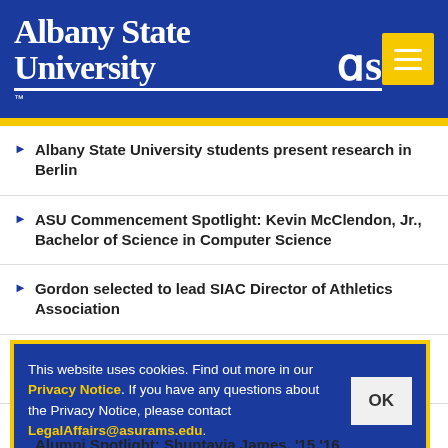[Figure (logo): Albany State University logo with text and emblem on blue background, with yellow hamburger menu button]
Albany State University students present research in Berlin
ASU Commencement Spotlight: Kevin McClendon, Jr., Bachelor of Science in Computer Science
Gordon selected to lead SIAC Director of Athletics Association
USG releases Albany State University fall enrollment numbers
Albany State University 2018 fall commencement ceremony to be held Dec. 8
This website uses cookies. Find out more in our Privacy Notice. If you have any questions about the Privacy Notice, please contact LegalAffairs@asurams.edu.
Alumni Spotlight: Shuntavia James, '15,'16